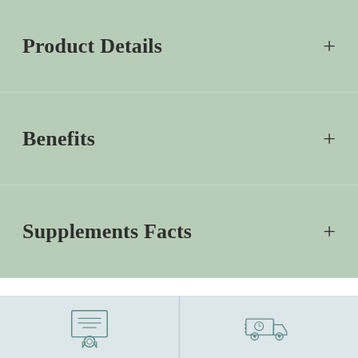Product Details +
Benefits +
Supplements Facts +
[Figure (illustration): Certificate/award icon representing 100% Satisfaction Guarantee]
100% Satisfaction Guarantee
[Figure (illustration): Delivery truck with clock icon representing Free Shipping on All Order in USA]
Free Shipping on All Order in USA
[Figure (illustration): 30-Day Money Back Guarantee stamp icon]
30 Day Money Back
[Figure (illustration): Circle with checkmark icon representing Ultimate]
Ultimate